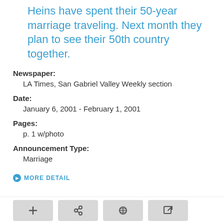Heins have spent their 50-year marriage traveling. Next month they plan to see their 50th country together.
Newspaper:
LA Times, San Gabriel Valley Weekly section
Date:
January 6, 2001 - February 1, 2001
Pages:
p. 1 w/photo
Announcement Type:
Marriage
MORE DETAIL